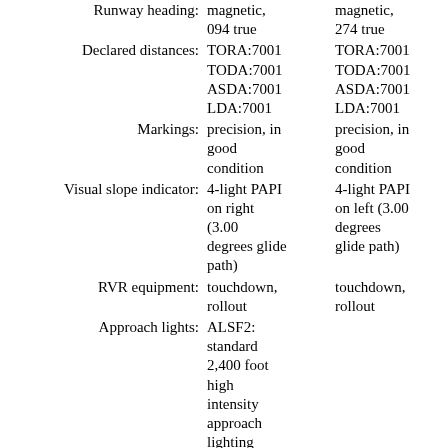| Field | Value 1 | Value 2 |
| --- | --- | --- |
| Runway heading: | magnetic, 094 true | magnetic, 274 true |
| Declared distances: | TORA:7001 TODA:7001 ASDA:7001 LDA:7001 | TORA:7001 TODA:7001 ASDA:7001 LDA:7001 |
| Markings: | precision, in good condition | precision, in good condition |
| Visual slope indicator: | 4-light PAPI on right (3.00 degrees glide path) | 4-light PAPI on left (3.00 degrees glide path) |
| RVR equipment: | touchdown, rollout | touchdown, rollout |
| Approach lights: | ALSF2: standard 2,400 foot high intensity approach lighting system with centerline |  |